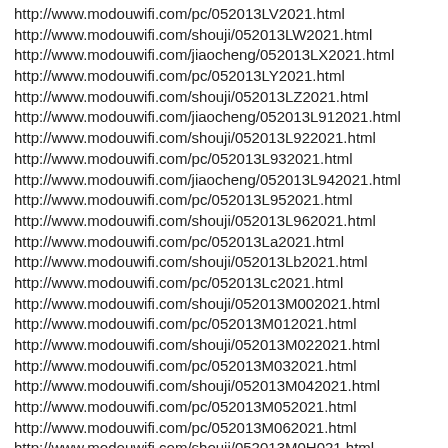http://www.modouwifi.com/pc/052013LV2021.html
http://www.modouwifi.com/shouji/052013LW2021.html
http://www.modouwifi.com/jiaocheng/052013LX2021.html
http://www.modouwifi.com/pc/052013LY2021.html
http://www.modouwifi.com/shouji/052013LZ2021.html
http://www.modouwifi.com/jiaocheng/052013L912021.html
http://www.modouwifi.com/shouji/052013L922021.html
http://www.modouwifi.com/pc/052013L932021.html
http://www.modouwifi.com/jiaocheng/052013L942021.html
http://www.modouwifi.com/pc/052013L952021.html
http://www.modouwifi.com/shouji/052013L962021.html
http://www.modouwifi.com/pc/052013La2021.html
http://www.modouwifi.com/shouji/052013Lb2021.html
http://www.modouwifi.com/pc/052013Lc2021.html
http://www.modouwifi.com/shouji/052013M002021.html
http://www.modouwifi.com/pc/052013M012021.html
http://www.modouwifi.com/shouji/052013M022021.html
http://www.modouwifi.com/pc/052013M032021.html
http://www.modouwifi.com/shouji/052013M042021.html
http://www.modouwifi.com/pc/052013M052021.html
http://www.modouwifi.com/pc/052013M062021.html
http://www.modouwifi.com/shouji/052013M0H021.html
http://www.modouwifi.com/pc/052013M0R021.html
http://www.modouwifi.com/pc/052013M092021.html
http://www.modouwifi.com/shouji/052013M102021.html
http://www.modouwifi.com/shouji/052013M112021.html